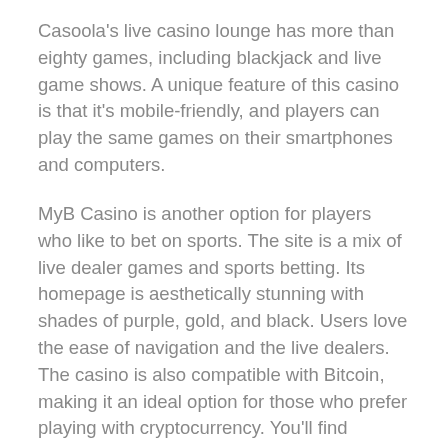Casoola's live casino lounge has more than eighty games, including blackjack and live game shows. A unique feature of this casino is that it's mobile-friendly, and players can play the same games on their smartphones and computers.
MyB Casino is another option for players who like to bet on sports. The site is a mix of live dealer games and sports betting. Its homepage is aesthetically stunning with shades of purple, gold, and black. Users love the ease of navigation and the live dealers. The casino is also compatible with Bitcoin, making it an ideal option for those who prefer playing with cryptocurrency. You'll find hundreds of other games at this casino online, including video poker, baccarat, and roulette.
The live casino experience has changed the way people play online. It has brought the excitement of a real gaming studio to the comfort of your home. These casinos use HD live streams to transmit the action to players. This type of casino is completely fair, but it's important to choose your live dealer casino carefully. A live casino can also offer additional perks...